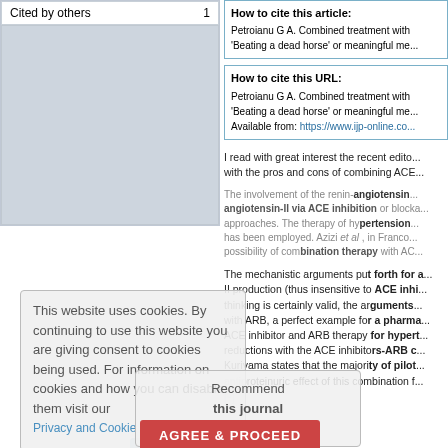| Cited by others | 1 |
| --- | --- |
This website uses cookies. By continuing to use this website you are giving consent to cookies being used. For information on cookies and how you can disable them visit our Privacy and Cookie Policy.
Recommend this journal for your library
AGREE & PROCEED
Register with us
How to cite this article:
Petroianu G A. Combined treatment with... 'Beating a dead horse' or meaningful me...
How to cite this URL:
Petroianu G A. Combined treatment with... 'Beating a dead horse' or meaningful me... Available from: https://www.ijp-online.co...
I read with great interest the recent edito... with the pros and cons of combining ACE...
The involvement of the renin-angiotensin... angiotensin-II via ACE inhibition or blocka... approaches. The therapy of hypertension... has been employed. Azizi et al , in Franco... possibility of combination therapy with AC...
The mechanistic arguments put forth for a... II production (thus insensitive to ACE inhi... thinking is certainly valid, the arguments... with ARB, a perfect example for a pharma... ACE inhibitor and ARB therapy for hypert... reductions with the ACE inhibitors-ARB c... Kuriyama states that the majority of pilot... antiproteinuric effect of this combination f...